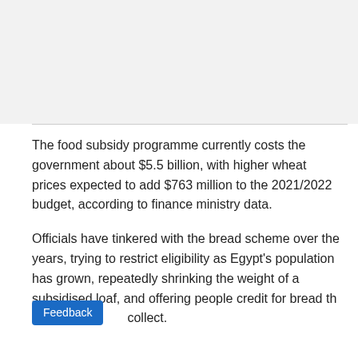The food subsidy programme currently costs the government about $5.5 billion, with higher wheat prices expected to add $763 million to the 2021/2022 budget, according to finance ministry data.
Officials have tinkered with the bread scheme over the years, trying to restrict eligibility as Egypt's population has grown, repeatedly shrinking the weight of a subsidised loaf, and offering people credit for bread they don't collect.